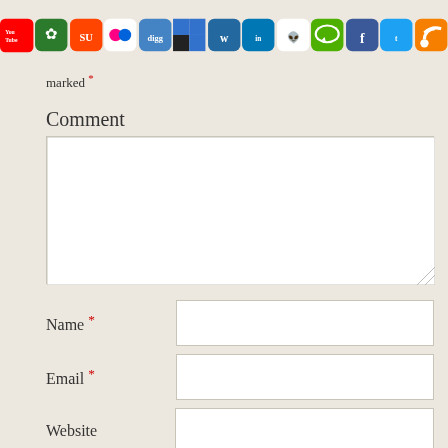[Figure (screenshot): Social media sharing icons bar including YouTube, Sprout, StumbleUpon, Flickr, Digg, Delicious, Wordpress, LinkedIn, Reddit, Messages, Facebook, Twitter, RSS]
marked *
Comment
[Figure (screenshot): Comment textarea input box]
Name *
Email *
Website
Save my name, email, and website in this browser for the next time I comment.
[Figure (screenshot): CAPTCHA image with colorful letters and a refresh button]